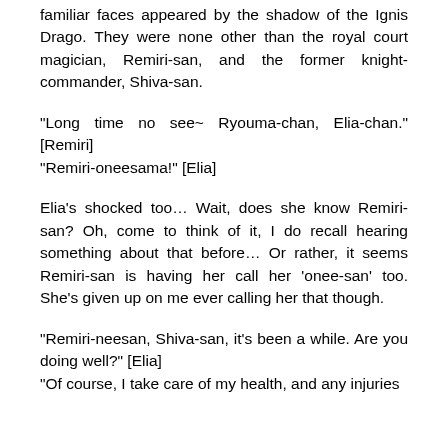familiar faces appeared by the shadow of the Ignis Drago. They were none other than the royal court magician, Remiri-san, and the former knight-commander, Shiva-san.
“Long time no see~ Ryouma-chan, Elia-chan.” [Remiri]
“Remiri-oneesama!” [Elia]
Elia’s shocked too… Wait, does she know Remiri-san? Oh, come to think of it, I do recall hearing something about that before… Or rather, it seems Remiri-san is having her call her ‘onee-san’ too. She’s given up on me ever calling her that though.
“Remiri-neesan, Shiva-san, it’s been a while. Are you doing well?” [Elia]
“Of course, I take care of my health, and any injuries